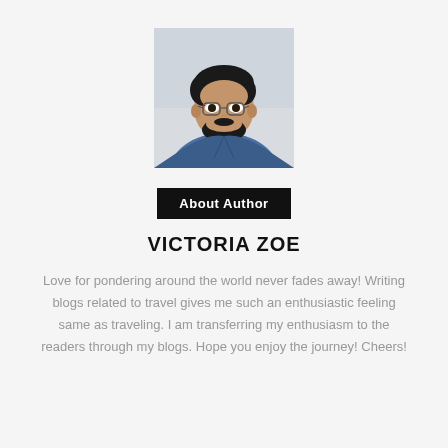[Figure (photo): Portrait photo of a young man with dark hair, glasses, and a beard wearing a denim jacket, photographed against a light background.]
About Author
VICTORIA ZOE
Love for pondering around the world never fades away! Writing blogs related to travel gives me such an enthusiastic feeling same as traveling. I am transferring my enthusiasm to the readers through my blogs. Hope you enjoy the journey! Cheers!